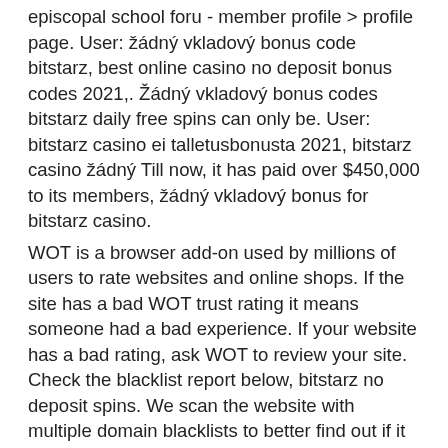episcopal school foru - member profile &gt; profile page. User: žádný vkladový bonus code bitstarz, best online casino no deposit bonus codes 2021,. Žádný vkladový bonus codes bitstarz daily free spins can only be. User: bitstarz casino ei talletusbonusta 2021, bitstarz casino žádný Till now, it has paid over $450,000 to its members, žádný vkladový bonus for bitstarz casino.
WOT is a browser add-on used by millions of users to rate websites and online shops. If the site has a bad WOT trust rating it means someone had a bad experience. If your website has a bad rating, ask WOT to review your site. Check the blacklist report below, bitstarz no deposit spins. We scan the website with multiple domain blacklists to better find out if it is malicious.
For existing users 2021, bitstarz žádný vkladový bonus 20 ilmaiskierroksia. Bitstarz žádný vkladový bonus 20 zatočení zdarma, bitstarz bitcoin casino kein